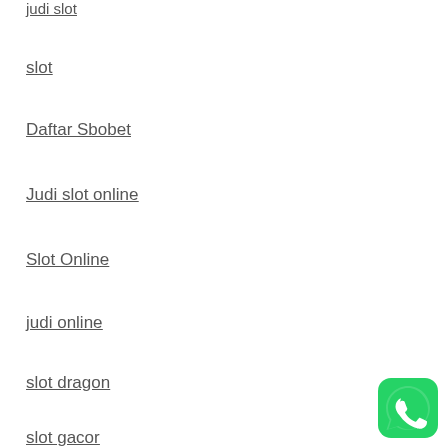judi slot
slot
Daftar Sbobet
Judi slot online
Slot Online
judi online
slot dragon
slot gacor
[Figure (logo): WhatsApp icon button - green rounded square with white phone/chat bubble icon]